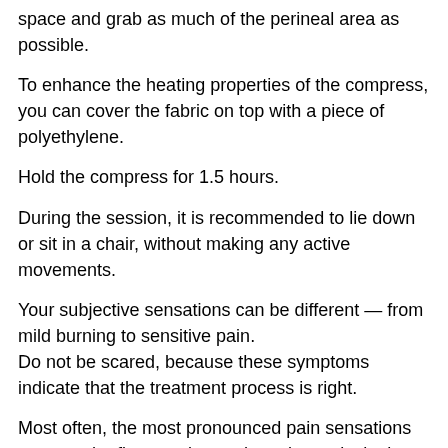space and grab as much of the perineal area as possible.
To enhance the heating properties of the compress, you can cover the fabric on top with a piece of polyethylene.
Hold the compress for 1.5 hours.
During the session, it is recommended to lie down or sit in a chair, without making any active movements.
Your subjective sensations can be different — from mild burning to sensitive pain.
Do not be scared, because these symptoms indicate that the treatment process is right.
Most often, the most pronounced pain sensations occur at the first sessions, when clay actively draws toxins and inflammation products from the prostate gland; At the continuation of treatment, unpleasant manifestations pass.
After you remove the compress, the used clay must be taken to the street and buried in the ground (in winter — in the